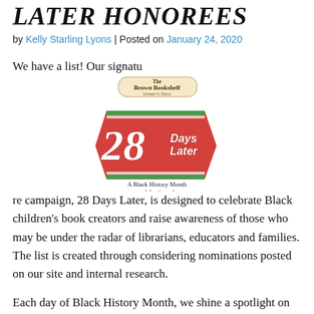Later Honorees
by Kelly Starling Lyons | Posted on January 24, 2020
We have a list! Our signatu
[Figure (logo): The Brown Bookshelf 'United in Story' logo above a '28 Days Later' badge in red/orange with italic text, and beneath it 'A Black History Month celebration of children's literature']
re campaign, 28 Days Later, is designed to celebrate Black children's book creators and raise awareness of those who may be under the radar of librarians, educators and families. The list is created through considering nominations posted on our site and internal research.
Each day of Black History Month, we shine a spotlight on an outstanding author or illustrator. Please join us